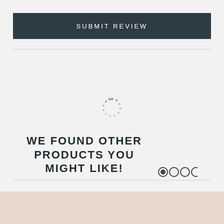SUBMIT REVIEW
[Figure (infographic): Circular loading spinner made of small grey dots arranged in a circle pattern]
WE FOUND OTHER PRODUCTS YOU MIGHT LIKE!